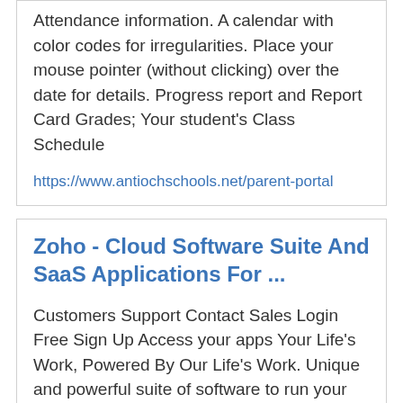Attendance information. A calendar with color codes for irregularities. Place your mouse pointer (without clicking) over the date for details. Progress report and Report Card Grades; Your student's Class Schedule
https://www.antiochschools.net/parent-portal
Zoho - Cloud Software Suite And SaaS Applications For ...
Customers Support Contact Sales Login Free Sign Up Access your apps Your Life's Work, Powered By Our Life's Work. Unique and powerful suite of software to run your entire business, brought to you by a company with the long term vision to transform the way you work. FEATURED APPS.